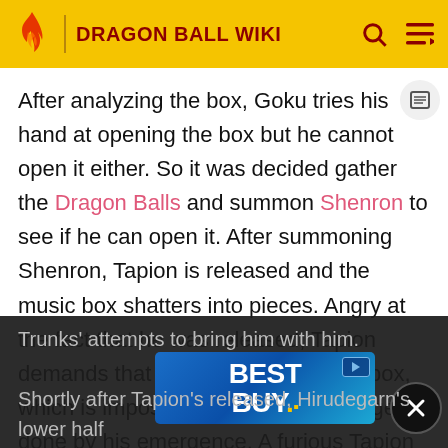DRAGON BALL WIKI
After analyzing the box, Goku tries his hand at opening the box but he cannot open it either. So it was decided gather the Dragon Balls and summon Shenron to see if he can open it. After summoning Shenron, Tapion is released and the music box shatters into pieces. Angry at the fact that he was released, Tapion demands that he be resealed in the box, which is impossible due to the damage done by his emergence. A furious Tapion storms off and isolates himself in a dilapidated building. The warrior is visited regularly by Trunks, who has taken a liking to him and brings him food, but Tapion refuses to eat and rebuffs Trunks' attempts to bring him with him.
[Figure (other): Best Buy advertisement banner with blue gradient background]
Shortly after Tapion's released, Hirudegarn's lower half